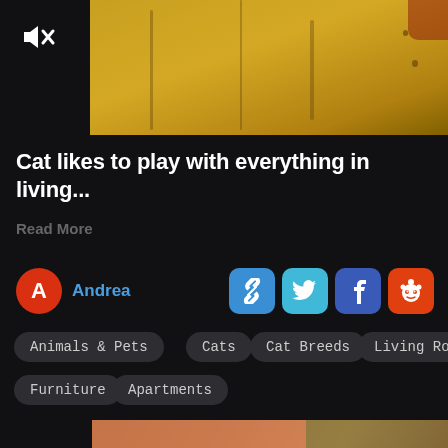[Figure (screenshot): Video thumbnail showing wooden surface with mute icon overlay in top-left corner]
Cat likes to play with everything in living...
Read More
Andrea
[Figure (infographic): Share buttons row: link, Twitter, Facebook, Reddit icons]
Animals & Pets
Cats
Cat Breeds
Living Rooms
Furniture
Apartments
[Figure (photo): Close-up photo of hand holding oranges with green leaves]